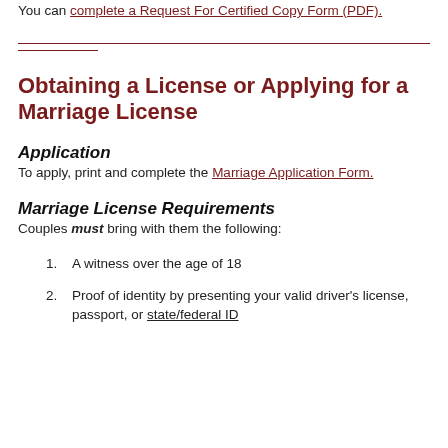You can complete a Request For Certified Copy Form (PDF).
Obtaining a License or Applying for a Marriage License
Application
To apply, print and complete the Marriage Application Form.
Marriage License Requirements
Couples must bring with them the following:
1. A witness over the age of 18
2. Proof of identity by presenting your valid driver's license, passport, or state/federal ID